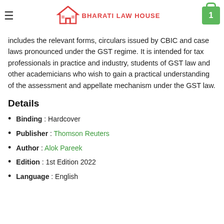Bharati Law House — navigation header with logo and cart
includes the relevant forms, circulars issued by CBIC and case laws pronounced under the GST regime. It is intended for tax professionals in practice and industry, students of GST law and other academicians who wish to gain a practical understanding of the assessment and appellate mechanism under the GST law.
Details
Binding : Hardcover
Publisher : Thomson Reuters
Author : Alok Pareek
Edition : 1st Edition 2022
Language : English